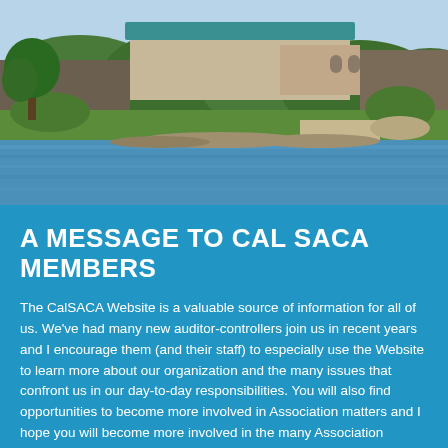[Figure (photo): Aerial or shoreline view of a building complex with a green/teal roof surrounded by trees, with a lake or river in the foreground on a sunny day.]
A MESSAGE TO CAL SACA MEMBERS
The CalSACA Website is a valuable source of information for all of us. We've had many new auditor-controllers join us in recent years and I encourage them (and their staff) to especially use the Website to learn more about our organization and the many issues that confront us in our day-to-day responsibilities. You will also find opportunities to become more involved in Association matters and I hope you will become more involved in the many Association activities that take place